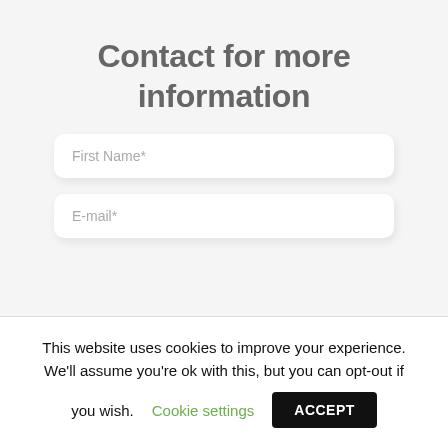Contact for more information
First Name*
E-mail*
This website uses cookies to improve your experience. We'll assume you're ok with this, but you can opt-out if you wish. Cookie settings ACCEPT